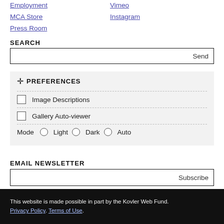Employment
MCA Store
Press Room
Vimeo
Instagram
SEARCH
Send
PREFERENCES
Image Descriptions
Gallery Auto-viewer
Mode  Light  Dark  Auto
EMAIL NEWSLETTER
Subscribe
This website is made possible in part by the Kovler Web Fund. Privacy Policy. Terms of Use.